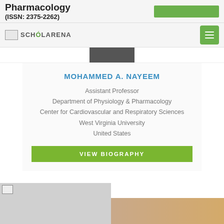Pharmacology (ISSN: 2375-2262)
[Figure (logo): ScholarArena logo with book icon and text]
[Figure (photo): Partial photo of a person at top]
MOHAMMED A. NAYEEM
Assistant Professor
Department of Physiology & Pharmacology
Center for Cardiovascular and Respiratory Sciences
West Virginia University
United States
VIEW BIOGRAPHY
[Figure (photo): Portrait photo of a person at bottom of page]